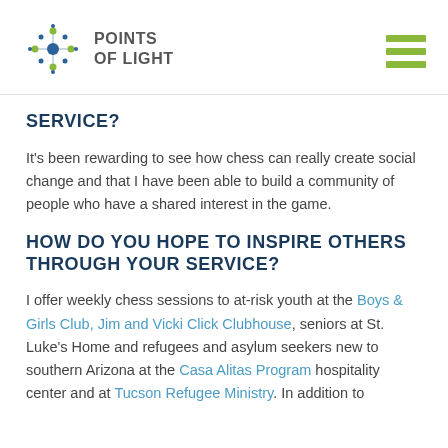POINTS OF LIGHT
SERVICE?
It's been rewarding to see how chess can really create social change and that I have been able to build a community of people who have a shared interest in the game.
HOW DO YOU HOPE TO INSPIRE OTHERS THROUGH YOUR SERVICE?
I offer weekly chess sessions to at-risk youth at the Boys & Girls Club, Jim and Vicki Click Clubhouse, seniors at St. Luke's Home and refugees and asylum seekers new to southern Arizona at the Casa Alitas Program hospitality center and at Tucson Refugee Ministry. In addition to